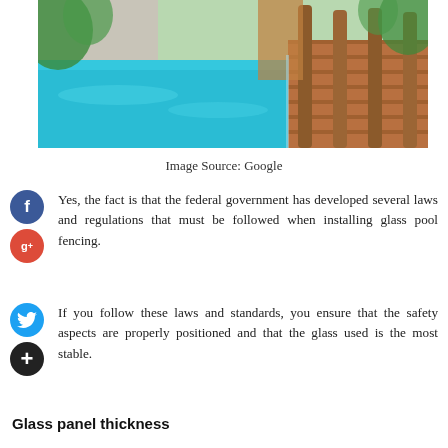[Figure (photo): Outdoor swimming pool with turquoise water, wooden deck with pillars, glass fencing, and tropical greenery in the background.]
Image Source: Google
Yes, the fact is that the federal government has developed several laws and regulations that must be followed when installing glass pool fencing.
If you follow these laws and standards, you ensure that the safety aspects are properly positioned and that the glass used is the most stable.
Glass panel thickness